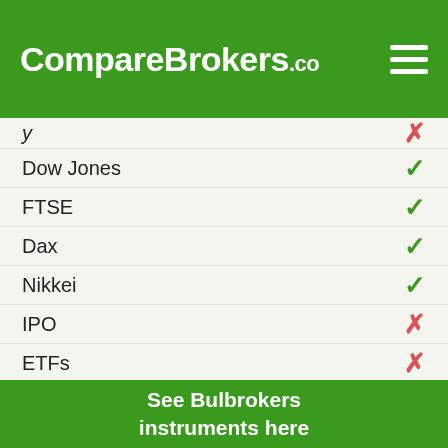CompareBrokers.co
— ✗
Dow Jones ✓
FTSE ✓
Dax ✓
Nikkei ✓
IPO ✗
ETFs ✗
Bitcoin CFD ✗
Metals ✓
Agriculturals ✗
Energies ✗
See Bulbrokers instruments here